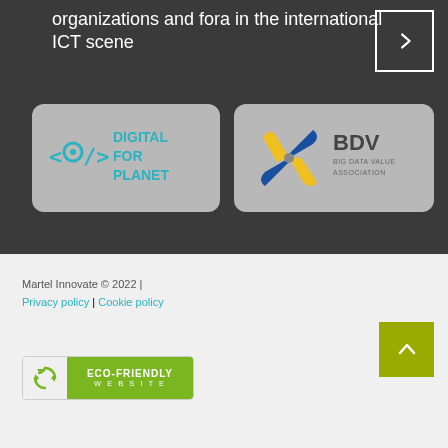organizations and fora in the international ICT scene
[Figure (logo): Digital For Planet logo on grey rounded card]
[Figure (logo): BDV Big Data Value Association logo on grey rounded card]
Martel Innovate © 2022 |
Privacy policy | Cookie policy
[Figure (logo): Eco-Friendly Website badge with green background and recycle icon]